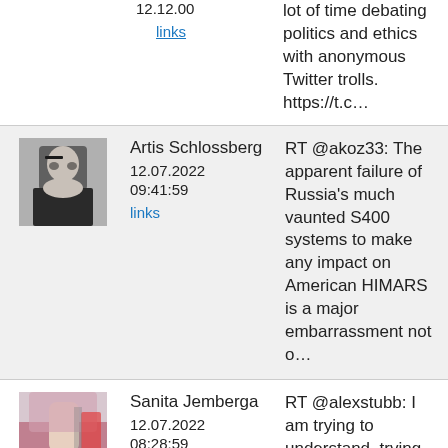12.12.00
links
lot of time debating politics and ethics with anonymous Twitter trolls. https://t.c…
Artis Schlossberg
12.07.2022
09:41:59
links
RT @akoz33: The apparent failure of Russia's much vaunted S400 systems to make any impact on American HIMARS is a major embarrassment not o…
Sanita Jemberga
12.07.2022
08:28:59
links
RT @alexstubb: I am trying to understand, trying to explain and trying to make sense why Putin and Russia attacked Ukraine…and I simply can…
Andrejs Andrejs
11.07.2022
22:00:13
links
RT @OreboundImages: Won't be living in Darwin for the spring/summer #lightning shows this year but we'll